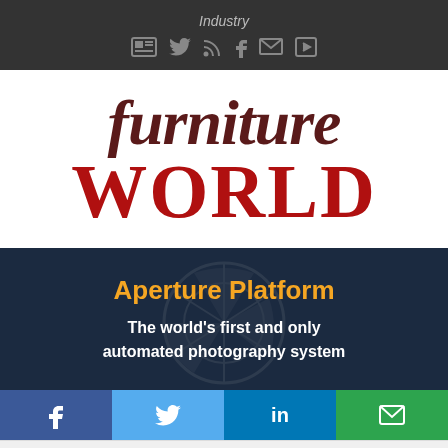Industry
[Figure (logo): Furniture World magazine logo — 'furniture' in dark maroon serif italic, 'WORLD' in bold red serif capitals below]
[Figure (infographic): Aperture Platform ad on dark navy background with camera aperture watermark. Orange bold heading 'Aperture Platform', white bold text 'The world's first and only automated photography system']
[Figure (infographic): Social sharing bar with four buttons: Facebook (dark blue), Twitter (light blue), LinkedIn (medium blue), Email (green)]